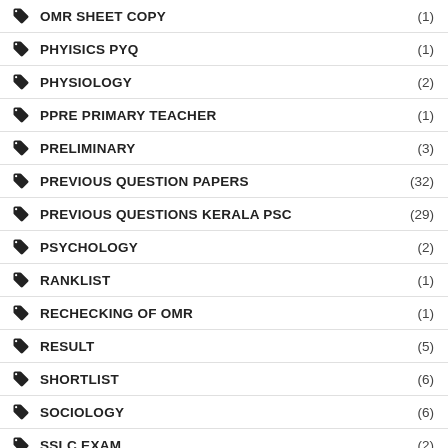OMR SHEET COPY (1)
PHYISICS PYQ (1)
PHYSIOLOGY (2)
PPRE PRIMARY TEACHER (1)
PRELIMINARY (3)
PREVIOUS QUESTION PAPERS (32)
PREVIOUS QUESTIONS KERALA PSC (29)
PSYCHOLOGY (2)
RANKLIST (1)
RECHECKING OF OMR (1)
RESULT (5)
SHORTLIST (6)
SOCIOLOGY (6)
SSLC EXAM (2)